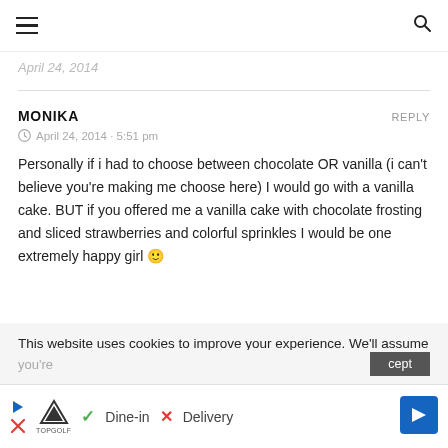≡  🔍
April 24, 2014
MONIKA   REPLY
April 24, 2014 · 5:51 pm
Personally if i had to choose between chocolate OR vanilla (i can't believe you're making me choose here) I would go with a vanilla cake. BUT if you offered me a vanilla cake with chocolate frosting and sliced strawberries and colorful sprinkles I would be one extremely happy girl 🙂
This website uses cookies to improve your experience. We'll assume
you're
[Figure (screenshot): Advertisement bar showing TopGolf logo, Dine-in with checkmark, Delivery with X, and navigation arrow]